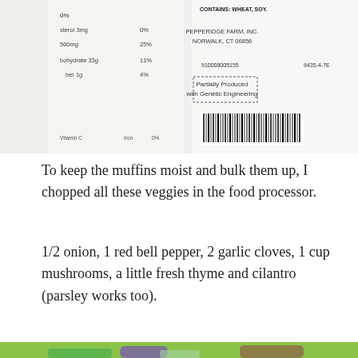[Figure (photo): Close-up of a food package nutrition label showing carbohydrate 33g 11%, fiber 1g 4%, and manufacturer info: Pepperidge Farm, Inc., Norwalk, CT 06856, with barcode and 'Partially Produced with Genetic Engineering' text]
To keep the muffins moist and bulk them up, I chopped all these veggies in the food processor.
1/2 onion, 1 red bell pepper, 2 garlic cloves, 1 cup mushrooms, a little fresh thyme and cilantro (parsley works too).
[Figure (photo): Vegetables on a green cutting board: fresh cilantro/parsley herbs, chopped red onion pieces, mushrooms (whole and sliced), red bell pepper pieces, and garlic cloves]